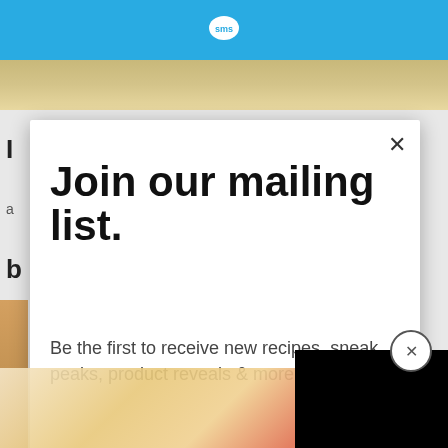SMS
[Figure (screenshot): Background webpage with food images partially visible behind a modal dialog]
Join our mailing list.
Be the first to receive new recipes, sneak peaks, product reveals & more.
Email address
Subscribe
CLOSE